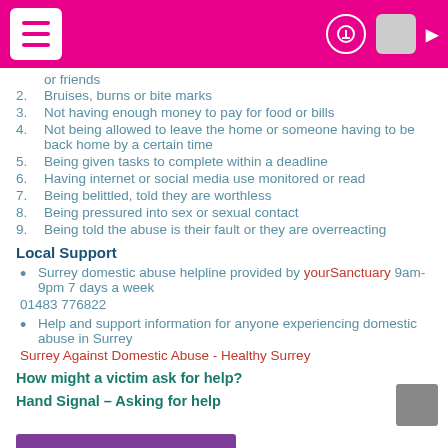2. Bruises, burns or bite marks
3. Not having enough money to pay for food or bills
4. Not being allowed to leave the home or someone having to be back home by a certain time
5. Being given tasks to complete within a deadline
6. Having internet or social media use monitored or read
7. Being belittled, told they are worthless
8. Being pressured into sex or sexual contact
9. Being told the abuse is their fault or they are overreacting
Local Support
Surrey domestic abuse helpline provided by yourSanctuary 9am-9pm 7 days a week
01483 776822
Help and support information for anyone experiencing domestic abuse in Surrey
Surrey Against Domestic Abuse - Healthy Surrey
How might a victim ask for help?
Hand Signal – Asking for help